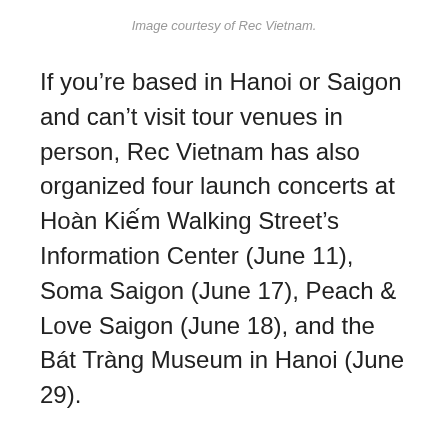Image courtesy of Rec Vietnam.
If you’re based in Hanoi or Saigon and can’t visit tour venues in person, Rec Vietnam has also organized four launch concerts at Hoàn Kiếm Walking Street’s Information Center (June 11), Soma Saigon (June 17), Peach & Love Saigon (June 18), and the Bát Tràng Museum in Hanoi (June 29).
Visit Rec Vietnam’s website and Facebook account for updates on the